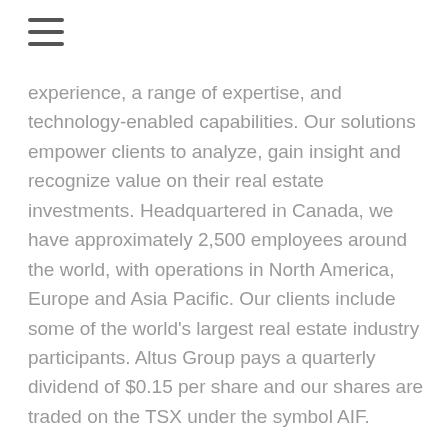≡
experience, a range of expertise, and technology-enabled capabilities. Our solutions empower clients to analyze, gain insight and recognize value on their real estate investments. Headquartered in Canada, we have approximately 2,500 employees around the world, with operations in North America, Europe and Asia Pacific. Our clients include some of the world's largest real estate industry participants. Altus Group pays a quarterly dividend of $0.15 per share and our shares are traded on the TSX under the symbol AIF.